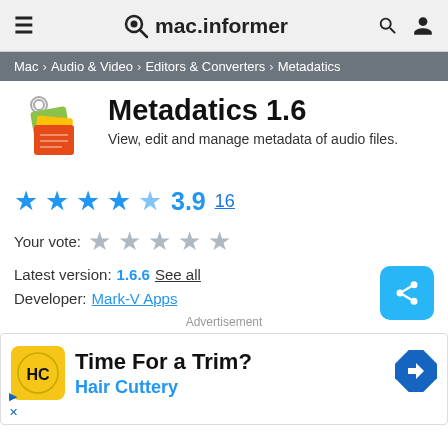mac.informer
Mac > Audio & Video > Editors & Converters > Metadatics
Metadatics 1.6
View, edit and manage metadata of audio files.
3.9  16
Your vote:
Latest version: 1.6.6  See all
Developer: Mark-V Apps
Advertisement
[Figure (other): Advertisement banner for Hair Cuttery: 'Time For a Trim? Hair Cuttery' with HC logo and arrow icon]